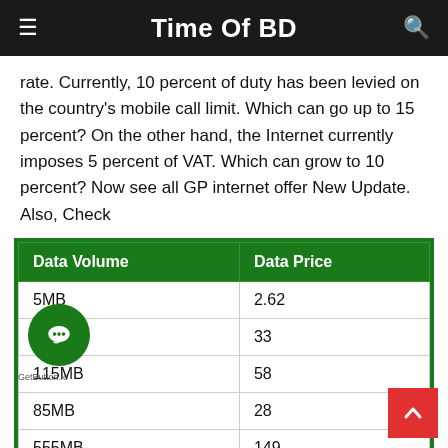Time Of BD
rate. Currently, 10 percent of duty has been levied on the country's mobile call limit. Which can go up to 15 percent? On the other hand, the Internet currently imposes 5 percent of VAT. Which can grow to 10 percent? Now see all GP internet offer New Update. Also, Check
| Data Volume | Data Price |
| --- | --- |
| 5MB | 2.62 |
| 350MB | 33 |
| 115MB | 58 |
| 85MB | 28 |
| 555MB | 149 |
| MB | 239 |
| 2GB | 54 |